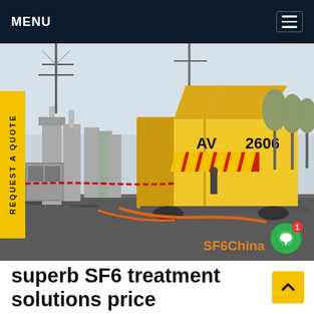MENU
[Figure (photo): Yellow SF6 treatment truck with open rear doors parked at an electrical substation with high-voltage equipment in background. SF6China watermark visible.]
superb SF6 treatment solutions price